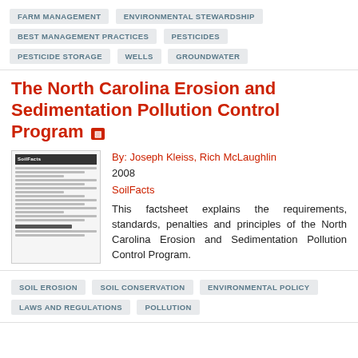FARM MANAGEMENT
ENVIRONMENTAL STEWARDSHIP
BEST MANAGEMENT PRACTICES
PESTICIDES
PESTICIDE STORAGE
WELLS
GROUNDWATER
The North Carolina Erosion and Sedimentation Pollution Control Program
By: Joseph Kleiss, Rich McLaughlin
2008
SoilFacts
This factsheet explains the requirements, standards, penalties and principles of the North Carolina Erosion and Sedimentation Pollution Control Program.
SOIL EROSION
SOIL CONSERVATION
ENVIRONMENTAL POLICY
LAWS AND REGULATIONS
POLLUTION